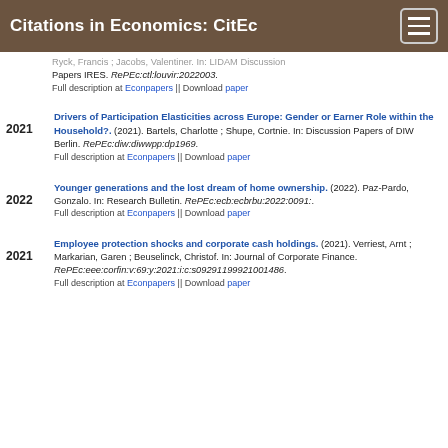Citations in Economics: CitEc
Ryck, Francis ; Jacobs, Valentiner. In: LIDAM Discussion Papers IRES. RePEc:ctl:louvir:2022003.
Full description at Econpapers || Download paper
2021 — Drivers of Participation Elasticities across Europe: Gender or Earner Role within the Household?. (2021). Bartels, Charlotte ; Shupe, Cortnie. In: Discussion Papers of DIW Berlin. RePEc:diw:diwwpp:dp1969. Full description at Econpapers || Download paper
2022 — Younger generations and the lost dream of home ownership. (2022). Paz-Pardo, Gonzalo. In: Research Bulletin. RePEc:ecb:ecbrbu:2022:0091:. Full description at Econpapers || Download paper
2021 — Employee protection shocks and corporate cash holdings. (2021). Verriest, Arnt ; Markarian, Garen ; Beuselinck, Christof. In: Journal of Corporate Finance. RePEc:eee:corfin:v:69:y:2021:i:c:s09291199921001486. Full description at Econpapers || Download paper